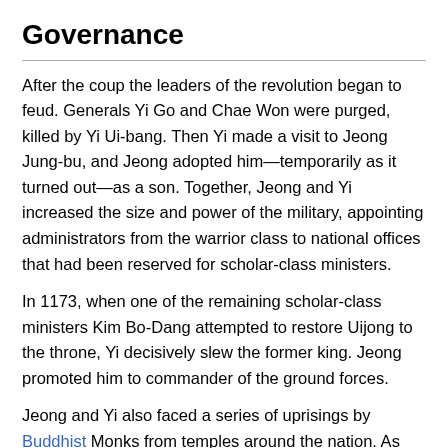Governance
After the coup the leaders of the revolution began to feud. Generals Yi Go and Chae Won were purged, killed by Yi Ui-bang. Then Yi made a visit to Jeong Jung-bu, and Jeong adopted him—temporarily as it turned out—as a son. Together, Jeong and Yi increased the size and power of the military, appointing administrators from the warrior class to national offices that had been reserved for scholar-class ministers.
In 1173, when one of the remaining scholar-class ministers Kim Bo-Dang attempted to restore Uijong to the throne, Yi decisively slew the former king. Jeong promoted him to commander of the ground forces.
Jeong and Yi also faced a series of uprisings by Buddhist Monks from temples around the nation. As Goryeo was officially a Buddhist nation, the Buddhists had significant influence upon the government and most Goryeo kings